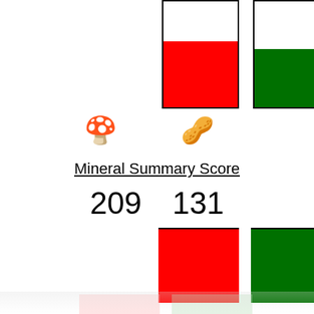[Figure (bar-chart): Two vertical bar containers, left filled red (~62%), right filled green (~55%), representing mineral scores for two foods.]
[Figure (photo): Food icon left: mushroom/oat bowl food image]
[Figure (photo): Food icon right: nuts/walnuts food image]
Mineral Summary Score
209    131
[Figure (bar-chart): Two solid color boxes: left red (score 209), right green (score 131).]